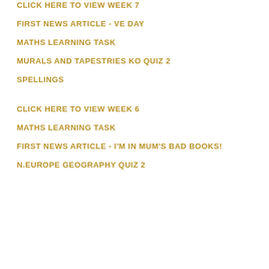CLICK HERE TO VIEW WEEK 7
FIRST NEWS ARTICLE - VE DAY
MATHS LEARNING TASK
MURALS AND TAPESTRIES KO QUIZ 2
SPELLINGS
CLICK HERE TO VIEW WEEK 6
MATHS LEARNING TASK
FIRST NEWS ARTICLE - I'M IN MUM'S BAD BOOKS!
N.EUROPE GEOGRAPHY QUIZ 2